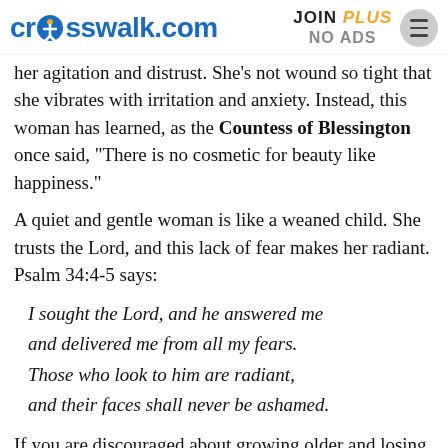crosswalk.com | JOIN PLUS NO ADS
her agitation and distrust. She's not wound so tight that she vibrates with irritation and anxiety. Instead, this woman has learned, as the Countess of Blessington once said, “There is no cosmetic for beauty like happiness.”
A quiet and gentle woman is like a weaned child. She trusts the Lord, and this lack of fear makes her radiant. Psalm 34:4-5 says:
I sought the Lord, and he answered me
and delivered me from all my fears.
Those who look to him are radiant,
and their faces shall never be ashamed.
If you are discouraged about growing older and losing beauty as the world defines it, then I hope you will be